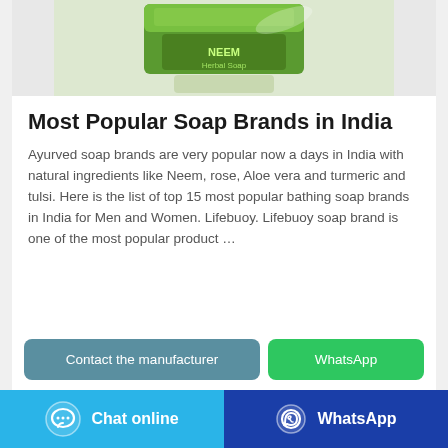[Figure (photo): Product photo of a green Ayurvedic soap bar/package on white background, cropped at top]
Most Popular Soap Brands in India
Ayurved soap brands are very popular now a days in India with natural ingredients like Neem, rose, Aloe vera and turmeric and tulsi. Here is the list of top 15 most popular bathing soap brands in India for Men and Women. Lifebuoy. Lifebuoy soap brand is one of the most popular product …
Contact the manufacturer
WhatsApp
Chat online
WhatsApp